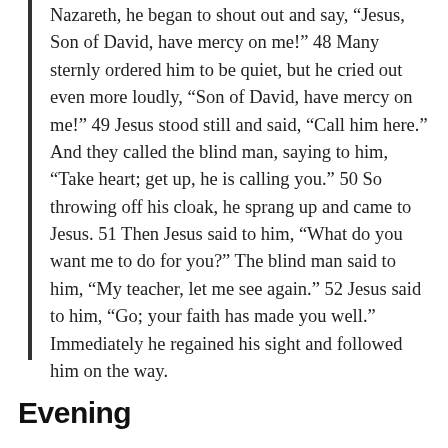Nazareth, he began to shout out and say, “Jesus, Son of David, have mercy on me!” 48 Many sternly ordered him to be quiet, but he cried out even more loudly, “Son of David, have mercy on me!” 49 Jesus stood still and said, “Call him here.” And they called the blind man, saying to him, “Take heart; get up, he is calling you.” 50 So throwing off his cloak, he sprang up and came to Jesus. 51 Then Jesus said to him, “What do you want me to do for you?” The blind man said to him, “My teacher, let me see again.” 52 Jesus said to him, “Go; your faith has made you well.” Immediately he regained his sight and followed him on the way.
Evening